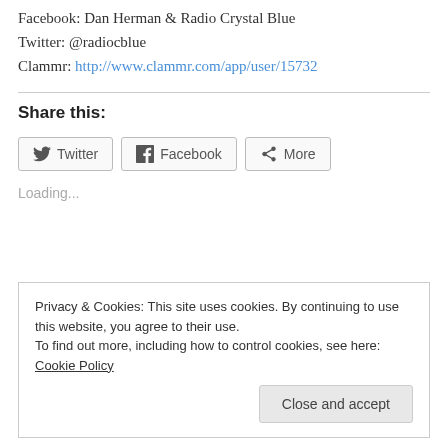Facebook: Dan Herman & Radio Crystal Blue
Twitter: @radiocblue
Clammr: http://www.clammr.com/app/user/15732
Share this:
Loading...
Privacy & Cookies: This site uses cookies. By continuing to use this website, you agree to their use.
To find out more, including how to control cookies, see here: Cookie Policy